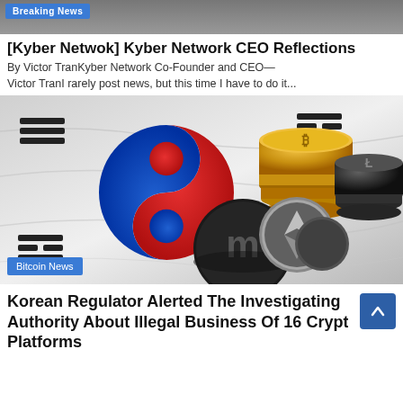[Figure (photo): Breaking News banner strip at the top with a person in background, partially visible]
[Kyber Netwok] Kyber Network CEO Reflections
By Victor TranKyber Network Co-Founder and CEO—Victor TranI rarely post news, but this time I have to do it...
[Figure (photo): South Korean flag with cryptocurrency coins (Bitcoin, Monero, Ethereum, Litecoin) stacked in front, photorealistic image. Bitcoin News badge in bottom-left corner.]
Korean Regulator Alerted The Investigating Authority About Illegal Business Of 16 Crypto Platforms